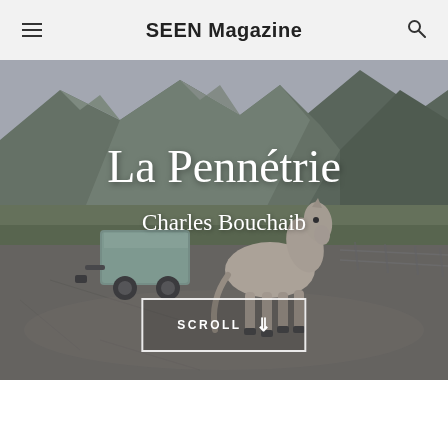SEEN Magazine
[Figure (photo): Outdoor mountain landscape photo showing a horse, a wheeled cart/tank, and rocky mountain peaks in background. The scene is an open paved area with grey sky and alpine scenery.]
La Pennétrie
Charles Bouchaib
SCROLL ↓